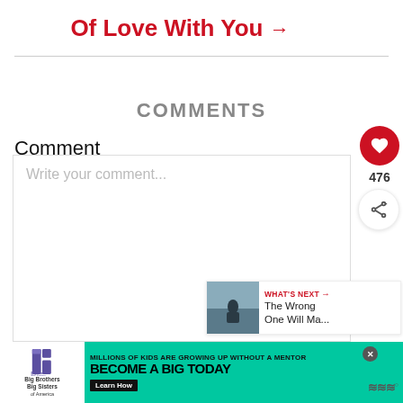Of Love With You →
COMMENTS
Comment
Write your comment...
476
WHAT'S NEXT → The Wrong One Will Ma...
[Figure (screenshot): Advertisement banner: Big Brothers Big Sisters logo, 'MILLIONS OF KIDS ARE GROWING UP WITHOUT A MENTOR. BECOME A BIG TODAY' with Learn How button on green background]